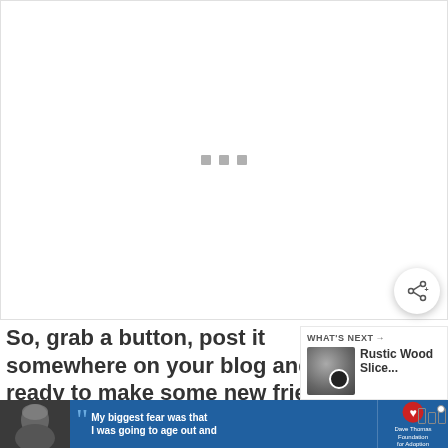[Figure (other): Large empty white/light gray image placeholder area with three small gray loading indicator squares in the center]
[Figure (other): Circular share button with a share icon (connected nodes), white background with shadow]
So, grab a button, post it somewhere on your blog and get ready to make some new friends.
[Figure (other): WHAT'S NEXT panel showing a thumbnail image of two circles/lenses and text 'Rustic Wood Slice...']
[Figure (other): Advertisement banner: photo of person in beanie hat, blue background with quote 'My biggest fear was that I was going to age out and', Dave Thomas Foundation for Adoption logo, close button, and menu icon]